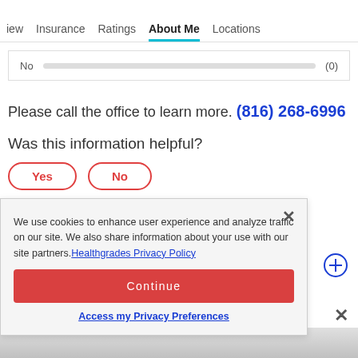iew   Insurance   Ratings   About Me   Locations
[Figure (other): Rating bar showing 'No' with empty bar and count (0)]
Please call the office to learn more. (816) 268-6996
Was this information helpful?
Yes   No
We use cookies to enhance user experience and analyze traffic on our site. We also share information about your use with our site partners. Healthgrades Privacy Policy
Continue
Access my Privacy Preferences